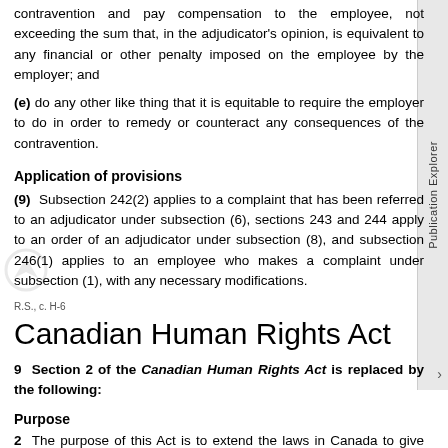contravention and pay compensation to the employee, not exceeding the sum that, in the adjudicator's opinion, is equivalent to any financial or other penalty imposed on the employee by the employer; and
(e) do any other like thing that it is equitable to require the employer to do in order to remedy or counteract any consequences of the contravention.
Application of provisions
(9) Subsection 242(2) applies to a complaint that has been referred to an adjudicator under subsection (6), sections 243 and 244 apply to an order of an adjudicator under subsection (8), and subsection 246(1) applies to an employee who makes a complaint under subsection (1), with any necessary modifications.
R.S., c. H-6
Canadian Human Rights Act
9 Section 2 of the Canadian Human Rights Act is replaced by the following:
Purpose
2 The purpose of this Act is to extend the laws in Canada to give effect, within the purview of matters coming within the legislative